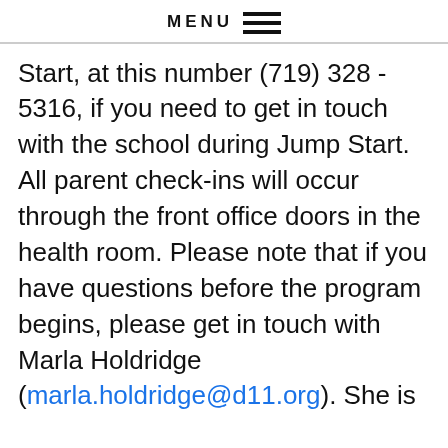MENU
Start, at this number (719) 328 - 5316, if you need to get in touch with the school during Jump Start. All parent check-ins will occur through the front office doors in the health room. Please note that if you have questions before the program begins, please get in touch with Marla Holdridge (marla.holdridge@d11.org). She is